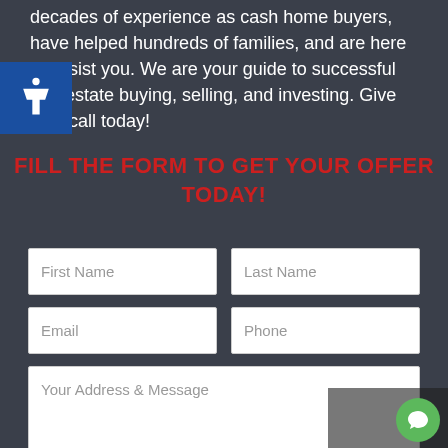decades of experience as cash home buyers, have helped hundreds of families, and are here to assist you. We are your guide to successful real estate buying, selling, and investing. Give us a call today!
FILL THE FORM TO GET YOUR OFFER TODAY!
[Figure (screenshot): Web contact form with fields: First Name, Last Name, Email, Phone, Your Address & Message textarea, and a checkbox for receiving text notifications.]
Receive text notifications. Reply Stop to Opt-out